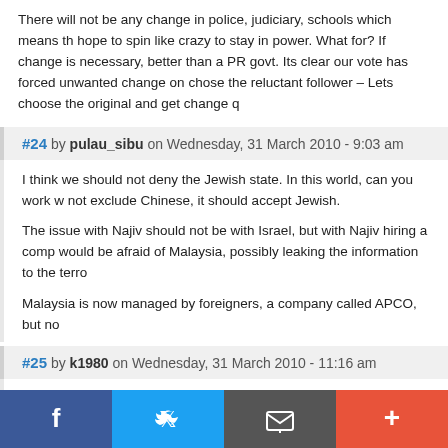There will not be any change in police, judiciary, schools which means the hope to spin like crazy to stay in power. What for? If change is necessary, better than a PR govt. Its clear our vote has forced unwanted change on chose the reluctant follower – Lets choose the original and get change q
#24 by pulau_sibu on Wednesday, 31 March 2010 - 9:03 am
I think we should not deny the Jewish state. In this world, can you work w not exclude Chinese, it should accept Jewish.

The issue with Najiv should not be with Israel, but with Najiv hiring a comp would be afraid of Malaysia, possibly leaking the information to the terro

Malaysia is now managed by foreigners, a company called APCO, but no
#25 by k1980 on Wednesday, 31 March 2010 - 11:16 am
Why Malysia is afraid of Israel?

It is just trying to show the Arabs that it is more “holy” than the Arab “holy
[Figure (other): Social media share footer bar with Facebook, Twitter, email, and plus icons]